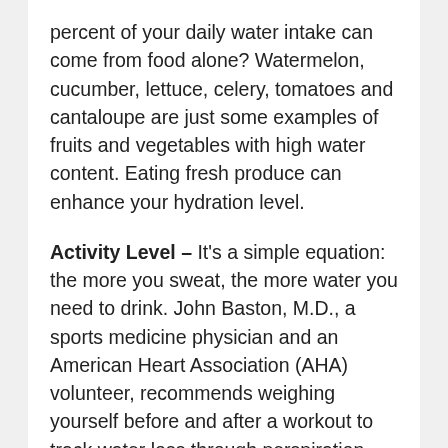percent of your daily water intake can come from food alone? Watermelon, cucumber, lettuce, celery, tomatoes and cantaloupe are just some examples of fruits and vegetables with high water content. Eating fresh produce can enhance your hydration level.
Activity Level – It's a simple equation: the more you sweat, the more water you need to drink. John Baston, M.D., a sports medicine physician and an American Heart Association (AHA) volunteer, recommends weighing yourself before and after a workout to track water loss through perspiration. “For every pound of sweat you lose, that’s a pint of water you’ll need to replenish,” Baston said. “It’s not unusual for a high school football player wearing pads and running drills to lose five pounds or more of sweat during a practice.” It is also